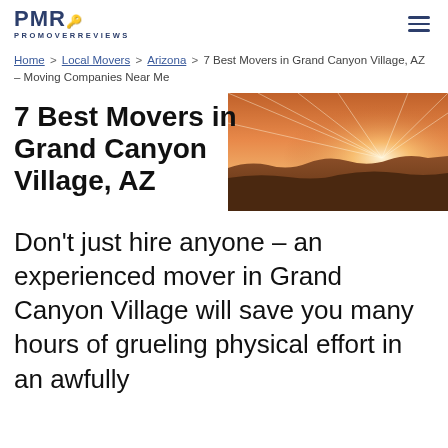PMR PROMOVERREVIEWS
Home > Local Movers > Arizona > 7 Best Movers in Grand Canyon Village, AZ – Moving Companies Near Me
7 Best Movers in Grand Canyon Village, AZ
[Figure (photo): Scenic desert canyon landscape with sunrays at dusk/dawn, orange and warm tones]
Don't just hire anyone – an experienced mover in Grand Canyon Village will save you many hours of grueling physical effort in an awfully